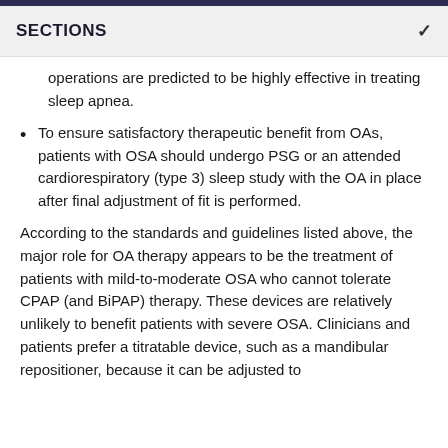SECTIONS
operations are predicted to be highly effective in treating sleep apnea.
To ensure satisfactory therapeutic benefit from OAs, patients with OSA should undergo PSG or an attended cardiorespiratory (type 3) sleep study with the OA in place after final adjustment of fit is performed.
According to the standards and guidelines listed above, the major role for OA therapy appears to be the treatment of patients with mild-to-moderate OSA who cannot tolerate CPAP (and BiPAP) therapy. These devices are relatively unlikely to benefit patients with severe OSA. Clinicians and patients prefer a titratable device, such as a mandibular repositioner, because it can be adjusted to